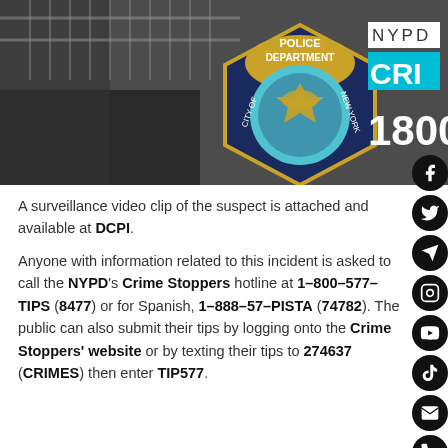[Figure (photo): NYPD Crime Stoppers banner image with NYPD Police Department badge/shield logo, text 'NYPD CRIME 1800' visible, dark grayscale background showing street fence and cars]
A surveillance video clip of the suspect is attached and available at DCPI.
Anyone with information related to this incident is asked to call the NYPD's Crime Stoppers hotline at 1-800-577-TIPS (8477) or for Spanish, 1-888-57-PISTA (74782). The public can also submit their tips by logging onto the Crime Stoppers' website or by texting their tips to 274637 (CRIMES) then enter TIP577.